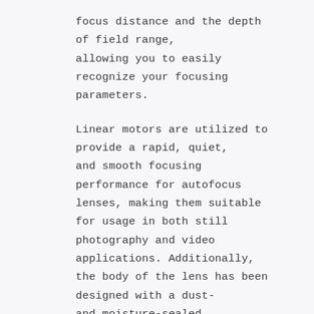focus distance and the depth of field range, allowing you to easily recognize your focusing parameters.
Linear motors are utilized to provide a rapid, quiet, and smooth focusing performance for autofocus lenses, making them suitable for usage in both still photography and video applications. Additionally, the body of the lens has been designed with a dust- and moisture-sealed construction so that it may be utilized in harsh situations.
This lens is ideal for the challenges posed by photographic genres such as landscape, Astro, and architectural photography because it maintains consistently high picture quality all the way into the lens's corners.